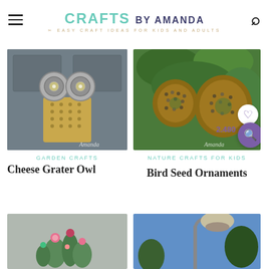CRAFTS BY AMANDA — EASY CRAFT IDEAS FOR KIDS AND ADULTS
[Figure (photo): Cheese grater owl craft hanging on a door, made from tin cans and a cheese grater]
GARDEN CRAFTS
Cheese Grater Owl
[Figure (photo): Bird seed ornaments shaped like flowers hanging in a tree, covered in bird seeds]
NATURE CRAFTS FOR KIDS
Bird Seed Ornaments
[Figure (photo): Cactus craft made from painted rocks or felt with colorful flowers on top]
[Figure (photo): Metal lamp post craft against blue sky]